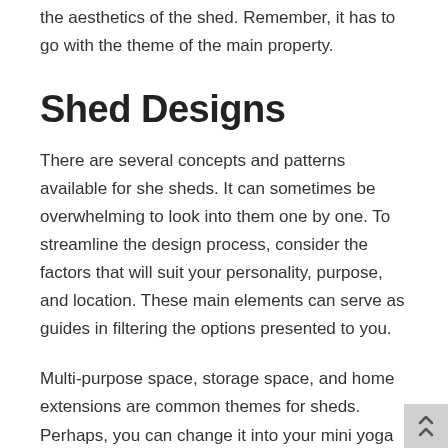the aesthetics of the shed. Remember, it has to go with the theme of the main property.
Shed Designs
There are several concepts and patterns available for she sheds. It can sometimes be overwhelming to look into them one by one. To streamline the design process, consider the factors that will suit your personality, purpose, and location. These main elements can serve as guides in filtering the options presented to you.
Multi-purpose space, storage space, and home extensions are common themes for sheds. Perhaps, you can change it into your mini yoga studio or gym if you're a health buff. An entertainment area for the